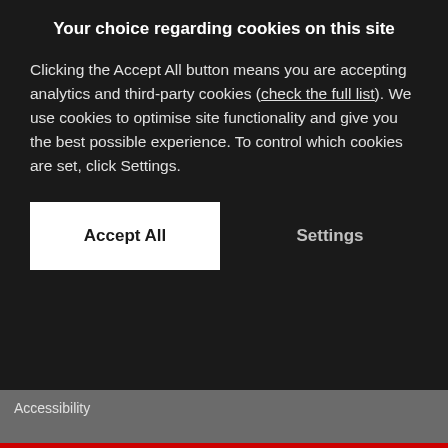Your choice regarding cookies on this site
Clicking the Accept All button means you are accepting analytics and third-party cookies (check the full list). We use cookies to optimise site functionality and give you the best possible experience. To control which cookies are set, click Settings.
Accept All
Settings
Accessibility